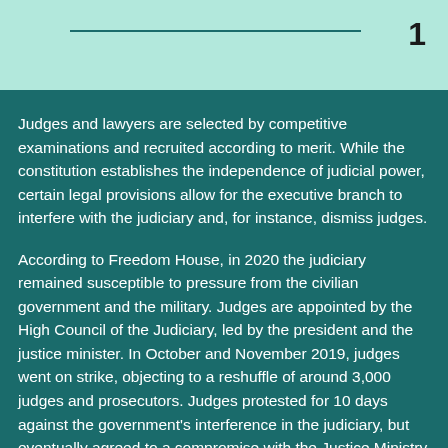1
Judges and lawyers are selected by competitive examinations and recruited according to merit. While the constitution establishes the independence of judicial power, certain legal provisions allow for the executive branch to interfere with the judiciary and, for instance, dismiss judges.
According to Freedom House, in 2020 the judiciary remained susceptible to pressure from the civilian government and the military. Judges are appointed by the High Council of the Judiciary, led by the president and the justice minister. In October and November 2019, judges went on strike, objecting to a reshuffle of around 3,000 judges and prosecutors. Judges protested for 10 days against the government's interference in the judiciary, but eventually agreed to a compromise with the Justice Ministry in early November. Lack of judicial independence often erodes the due process rights of defendants, particularly in